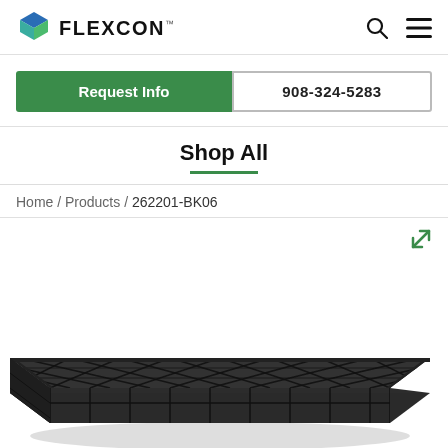FLEXCON — navigation header with search and menu icons
Request Info | 908-324-5283
Shop All
Home / Products / 262201-BK06
[Figure (photo): Black plastic pallet or dunnage tray with diamond-grid open pattern, viewed from a perspective angle. Product SKU 262201-BK06.]